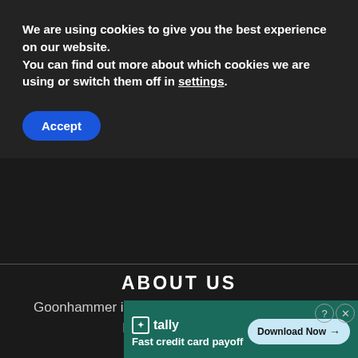We are using cookies to give you the best experience on our website.
You can find out more about which cookies we are using or switch them off in settings.
Accept
ABOUT US
Goonhammer is an extremely real website full of Posts and Friends.
FOLLOW US
[Figure (infographic): Four social media icon buttons in square borders: Facebook (f), Instagram (camera), Twitter (bird), YouTube (play button)]
[Figure (infographic): Advertisement banner for Tally app: 'Fast credit card payoff' with Download Now button]